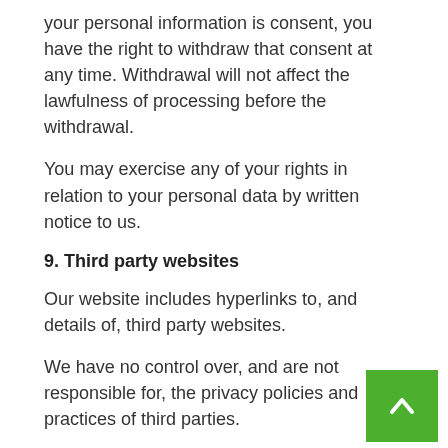your personal information is consent, you have the right to withdraw that consent at any time. Withdrawal will not affect the lawfulness of processing before the withdrawal.
You may exercise any of your rights in relation to your personal data by written notice to us.
9. Third party websites
Our website includes hyperlinks to, and details of, third party websites.
We have no control over, and are not responsible for, the privacy policies and practices of third parties.
10. Updating information
Please let us know if the personal information that hold about you needs to be corrected or updated.